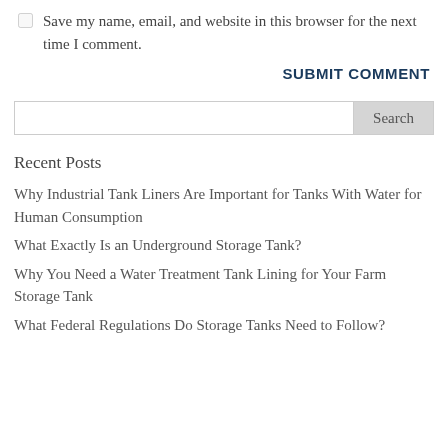Save my name, email, and website in this browser for the next time I comment.
SUBMIT COMMENT
Search
Recent Posts
Why Industrial Tank Liners Are Important for Tanks With Water for Human Consumption
What Exactly Is an Underground Storage Tank?
Why You Need a Water Treatment Tank Lining for Your Farm Storage Tank
What Federal Regulations Do Storage Tanks Need to Follow?